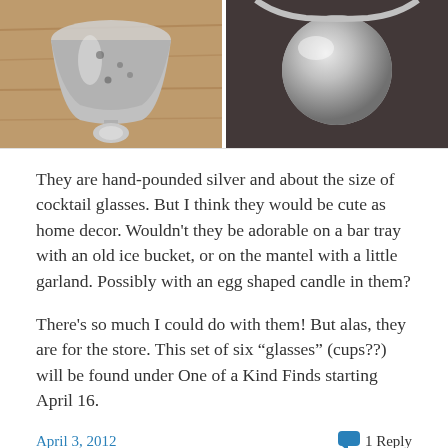[Figure (photo): Two photos side by side of hand-pounded silver cocktail glasses/cups. Left photo shows a silver cup from the front/side, right photo shows a close-up of the silver ball stem/base.]
They are hand-pounded silver and about the size of cocktail glasses.  But I think they would be cute as home decor. Wouldn't they be adorable on a bar tray with an old ice bucket, or on the mantel with a little garland. Possibly with an egg shaped candle in them?
There's so much I could do with them! But alas, they are for the store. This set of six “glasses” (cups??) will be found under One of a Kind Finds starting April 16.
April 3, 2012    1 Reply